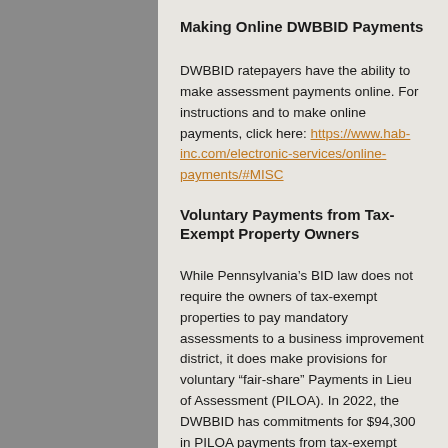Making Online DWBBID Payments
DWBBID ratepayers have the ability to make assessment payments online. For instructions and to make online payments, click here: https://www.hab-inc.com/electronic-services/online-payments/#MISC
Voluntary Payments from Tax-Exempt Property Owners
While Pennsylvania’s BID law does not require the owners of tax-exempt properties to pay mandatory assessments to a business improvement district, it does make provisions for voluntary “fair-share” Payments in Lieu of Assessment (PILOA). In 2022, the DWBBID has commitments for $94,300 in PILOA payments from tax-exempt property owners within the district.